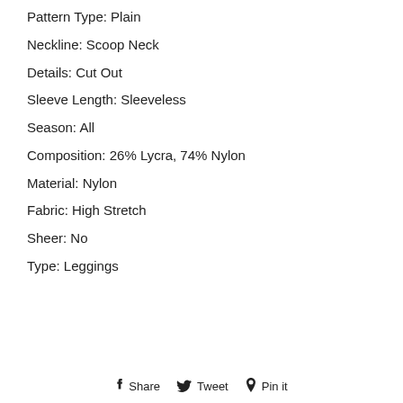Pattern Type: Plain
Neckline: Scoop Neck
Details: Cut Out
Sleeve Length: Sleeveless
Season: All
Composition: 26% Lycra, 74% Nylon
Material: Nylon
Fabric: High Stretch
Sheer: No
Type: Leggings
Share   Tweet   Pin it